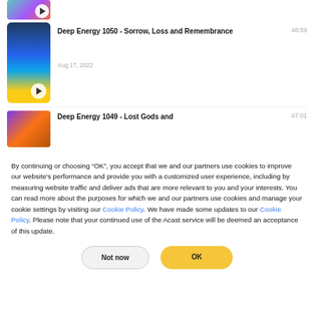[Figure (screenshot): Podcast thumbnail with colorful abstract gradient, partially cropped at top]
[Figure (screenshot): Podcast thumbnail for Deep Energy 1050 - Sorrow, Loss and Remembrance showing dark sky and lake reflection with yellow play button]
Deep Energy 1050 - Sorrow, Loss and Remembrance
Aug 17, 2022
48:59
[Figure (screenshot): Podcast thumbnail for Deep Energy 1049 - Lost Gods, partially visible]
Deep Energy 1049 - Lost Gods and
47:01
By continuing or choosing “OK”, you accept that we and our partners use cookies to improve our website's performance and provide you with a customized user experience, including by measuring website traffic and deliver ads that are more relevant to you and your interests. You can read more about the purposes for which we and our partners use cookies and manage your cookie settings by visiting our Cookie Policy. We have made some updates to our Cookie Policy. Please note that your continued use of the Acast service will be deemed an acceptance of this update.
Not now
OK